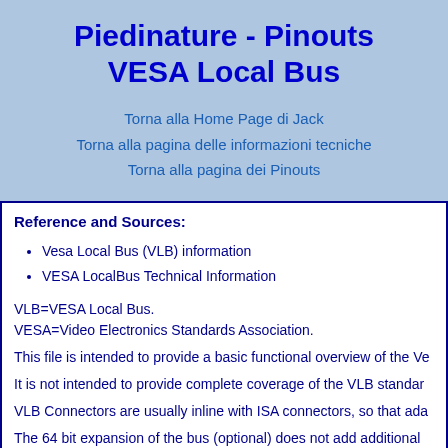Piedinature - Pinouts VESA Local Bus
Torna alla Home Page di Jack
Torna alla pagina delle informazioni tecniche
Torna alla pagina dei Pinouts
Reference and Sources:
Vesa Local Bus (VLB) information
VESA LocalBus Technical Information
VLB=VESA Local Bus.
VESA=Video Electronics Standards Association.
This file is intended to provide a basic functional overview of the Ve...
It is not intended to provide complete coverage of the VLB standard...
VLB Connectors are usually inline with ISA connectors, so that ada...
The 64 bit expansion of the bus (optional) does not add additional...